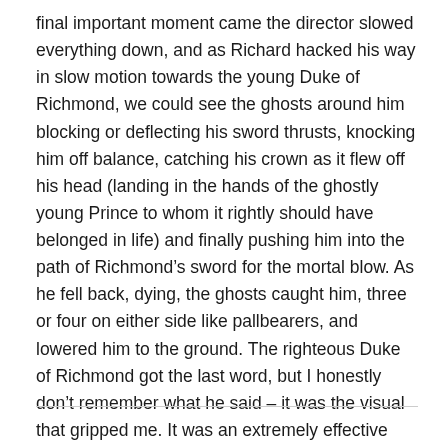final important moment came the director slowed everything down, and as Richard hacked his way in slow motion towards the young Duke of Richmond, we could see the ghosts around him blocking or deflecting his sword thrusts, knocking him off balance, catching his crown as it flew off his head (landing in the hands of the ghostly young Prince to whom it rightly should have belonged in life) and finally pushing him into the path of Richmond’s sword for the mortal blow. As he fell back, dying, the ghosts caught him, three or four on either side like pallbearers, and lowered him to the ground. The righteous Duke of Richmond got the last word, but I honestly don’t remember what he said – it was the visual that gripped me. It was an extremely effective ending